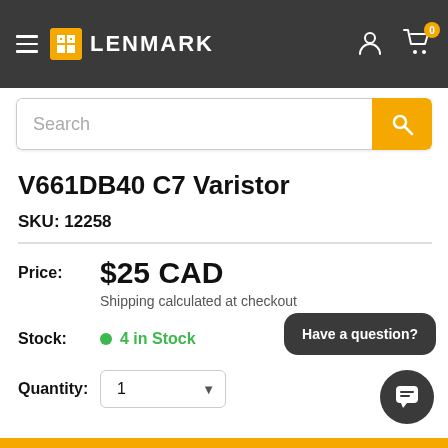LENMARK
Search
V661DB40 C7 Varistor
SKU: 12258
Price: $25 CAD
Shipping calculated at checkout
Stock: 4 in Stock
Quantity: 1
Have a question?